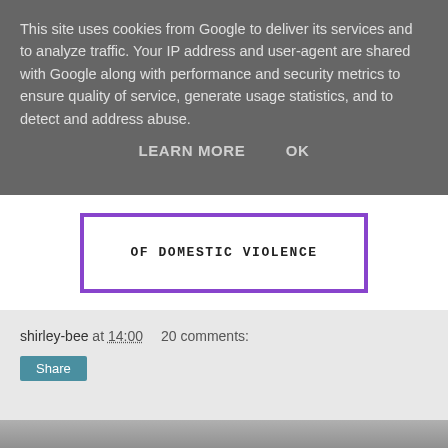This site uses cookies from Google to deliver its services and to analyze traffic. Your IP address and user-agent are shared with Google along with performance and security metrics to ensure quality of service, generate usage statistics, and to detect and address abuse.
LEARN MORE    OK
[Figure (other): Partial image with purple border showing text 'OF DOMESTIC VIOLENCE']
shirley-bee at 14:00   20 comments:
Share
Monday, October 17, 2016
The Hop To Stop
[Figure (photo): Partial photo visible at bottom of page]